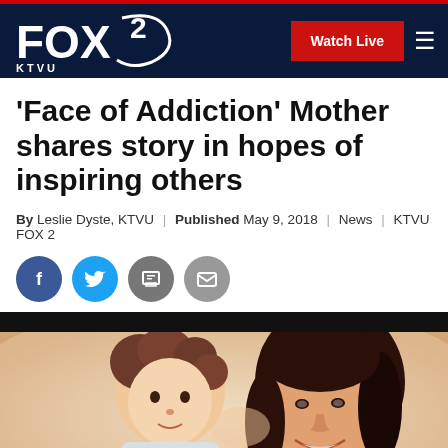FOX 2 KTVU | Watch Live
'Face of Addiction' Mother shares story in hopes of inspiring others
By Leslie Dyste, KTVU | Published May 9, 2018 | News | KTVU FOX 2
[Figure (other): Social sharing icons: Facebook, Twitter, Print, Email]
[Figure (photo): Photo of a smiling woman with dark curly hair cheek-to-cheek with a young child with curly hair, appearing to be a mother and child selfie]